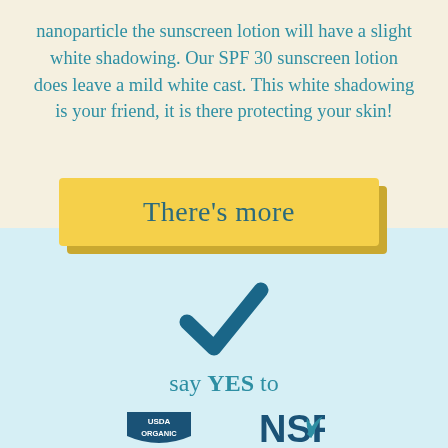nanoparticle the sunscreen lotion will have a slight white shadowing. Our SPF 30 sunscreen lotion does leave a mild white cast. This white shadowing is your friend, it is there protecting your skin!
There's more
[Figure (illustration): Blue checkmark icon]
say YES to
[Figure (logo): USDA ORGANIC shield logo and NSF leaf logo]